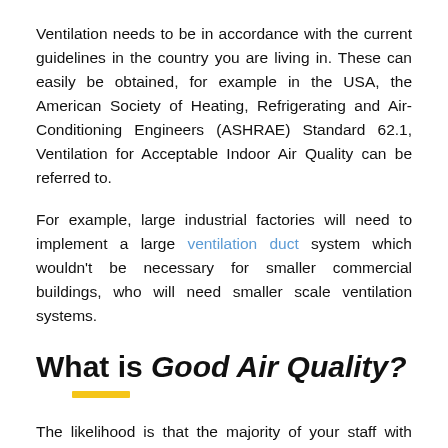Ventilation needs to be in accordance with the current guidelines in the country you are living in. These can easily be obtained, for example in the USA, the American Society of Heating, Refrigerating and Air-Conditioning Engineers (ASHRAE) Standard 62.1, Ventilation for Acceptable Indoor Air Quality can be referred to.
For example, large industrial factories will need to implement a large ventilation duct system which wouldn't be necessary for smaller commercial buildings, who will need smaller scale ventilation systems.
What is Good Air Quality?
The likelihood is that the majority of your staff with barely notice when indoor air quality is good or bad – if the issue is no